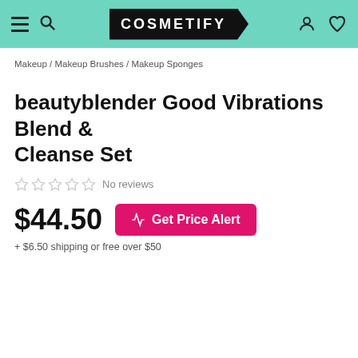COSMETIFY
Makeup / Makeup Brushes / Makeup Sponges
beautyblender Good Vibrations Blend & Cleanse Set
No reviews
$44.50
Get Price Alert
+ $6.50 shipping or free over $50